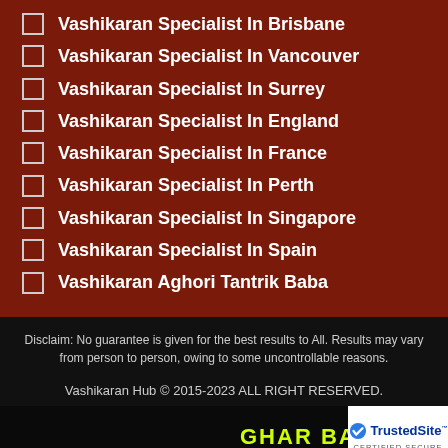Vashikaran Specialist In Brisbane
Vashikaran Specialist In Vancouver
Vashikaran Specialist In Surrey
Vashikaran Specialist In England
Vashikaran Specialist In France
Vashikaran Specialist In Perth
Vashikaran Specialist In Singapore
Vashikaran Specialist In Spain
Vashikaran Aghori Tantrik Baba
Disclaim: No guarantee is given for the best results to All. Results may vary from person to person, owing to some uncontrollable reasons.
Vashikaran Hub © 2015-2023 ALL RIGHT RESERVED.
GHAR BAITHE